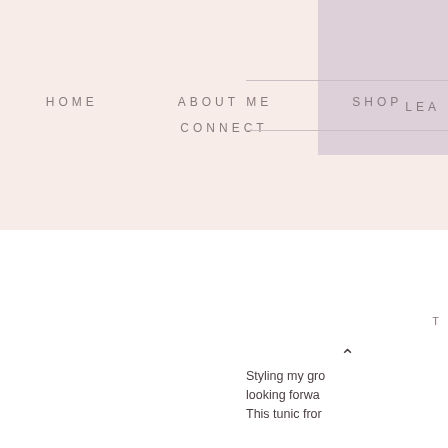HOME   ABOUT ME   SHOP   CONNECT
LEA
T
Styling my gro looking forwa
This tunic fror